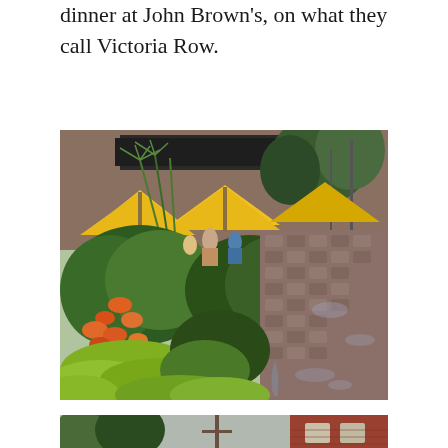dinner at John Brown's, on what they call Victoria Row.
[Figure (photo): Outdoor restaurant patio on a rain-wet brick pedestrian street (Victoria Row), with lush tropical and flowering plants, orange and white flowers, large green leaves, yellow patio umbrellas, and people dining in the background. Red brick buildings visible behind.]
[Figure (photo): Partial view of a street scene with trees, iron fence/railing, and red brick buildings, taken in rainy conditions.]